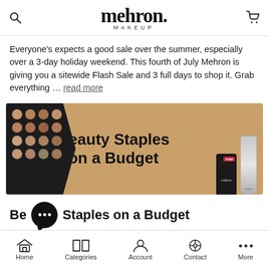mehron. MAKEUP
Everyone's expects a good sale over the summer, especially over a 3-day holiday weekend. This fourth of July Mehron is giving you a sitewide Flash Sale and 3 full days to shop it. Grab everything … read more
[Figure (photo): Banner advertisement showing a makeup palette on the left and makeup products on the right with text 'Beauty Staples on a Budget' on a tan/beige background]
Beauty Staples on a Budget
25th June 2021
Home  Categories  Account  Contact  More